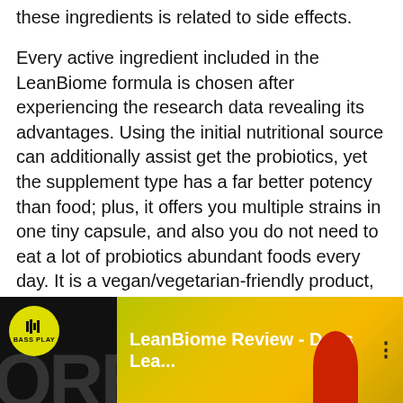these ingredients is related to side effects.
Every active ingredient included in the LeanBiome formula is chosen after experiencing the research data revealing its advantages. Using the initial nutritional source can additionally assist get the probiotics, yet the supplement type has a far better potency than food; plus, it offers you multiple strains in one tiny capsule, and also you do not need to eat a lot of probiotics abundant foods every day. It is a vegan/vegetarian-friendly product, free from nuts, soy, dairy, BPAs, and genetically modified ingredients.
[Figure (screenshot): Embedded video thumbnail showing a YouTube-style player with a yellow/green gradient background, a black panel on the left with a yellow BASS PLAY circle logo and large letter graphics, and text 'LeanBiome Review - Does Lea...' with a three-dot menu icon.]